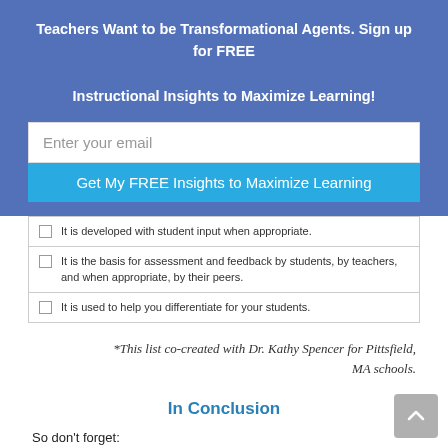Teachers Want to be Transformational Agents. Sign up for FREE Instructional Insights to Maximize Learning!
[Figure (other): Email signup form with text input field and submit button]
It is developed with student input when appropriate.
It is the basis for assessment and feedback by students, by teachers, and when appropriate, by their peers.
It is used to help you differentiate for your students.
*This list co-created with Dr. Kathy Spencer for Pittsfield, MA schools.
In Conclusion
So don't forget:
Make personal daily checklists for your goals so that